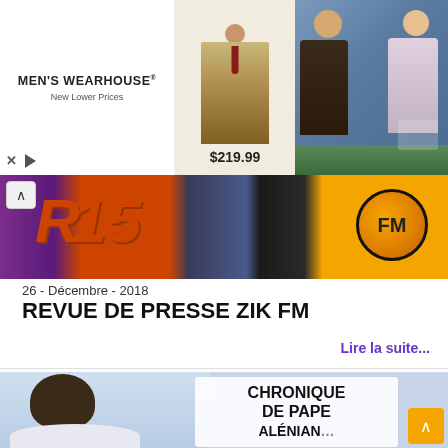[Figure (screenshot): Men's Wearhouse advertisement banner with suit image ($219.99) and couple in wedding attire]
[Figure (screenshot): ZIK FM radio station banner with orange logo and colorful background, with a back arrow control]
26 - Décembre - 2018
REVUE DE PRESSE ZIK FM
Lire la suite...
[Figure (photo): Photo of a man with text overlay reading CHRONIQUE DE PAPE ALÉNIANG (partial), with orange back-to-top button]